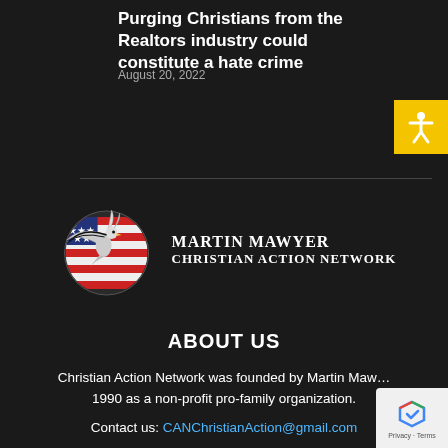Purging Christians from the Realtors industry could constitute a hate crime
August 20, 2022
[Figure (logo): Martin Mawyer Christian Action Network logo — eagle/bird with American flag circle emblem, with text 'Martin Mawyer Christian Action Network']
ABOUT US
Christian Action Network was founded by Martin Mawyer in 1990 as a non-profit pro-family organization.
Contact us: CANChristianAction@gmail.com